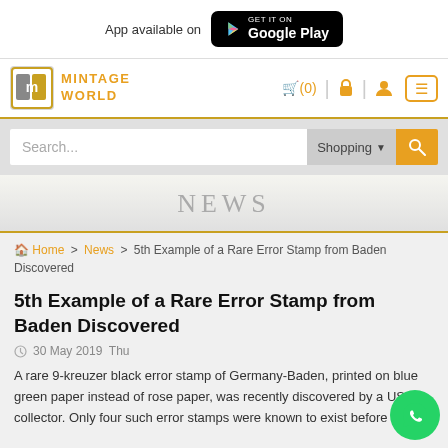App available on Google Play
[Figure (logo): Mintage World logo with navigation icons including cart (0), lock, user, and hamburger menu]
[Figure (other): Search bar with Shopping dropdown and orange search button]
NEWS
Home > News > 5th Example of a Rare Error Stamp from Baden Discovered
5th Example of a Rare Error Stamp from Baden Discovered
30 May 2019  Thu
A rare 9-kreuzer black error stamp of Germany-Baden, printed on blue green paper instead of rose paper, was recently discovered by a US collector. Only four such error stamps were known to exist before this